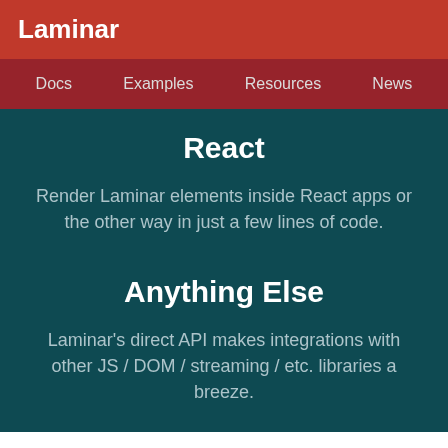Laminar
Docs  Examples  Resources  News
React
Render Laminar elements inside React apps or the other way in just a few lines of code.
Anything Else
Laminar's direct API makes integrations with other JS / DOM / streaming / etc. libraries a breeze.